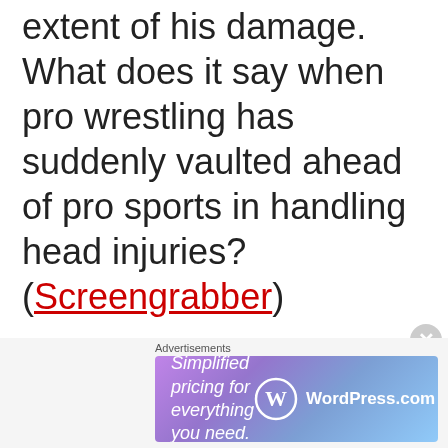him but a new test showed the extent of his damage. What does it say when pro wrestling has suddenly vaulted ahead of pro sports in handling head injuries? (Screengrabber)
In StarCraft, a build that says 14 Nexus doesn't mean build 14 nexuses. It means that you should build a nexus when your unit
Advertisements
[Figure (screenshot): WordPress.com advertisement banner: 'Simplified pricing for everything you need.' with WordPress.com logo on gradient purple-blue background.]